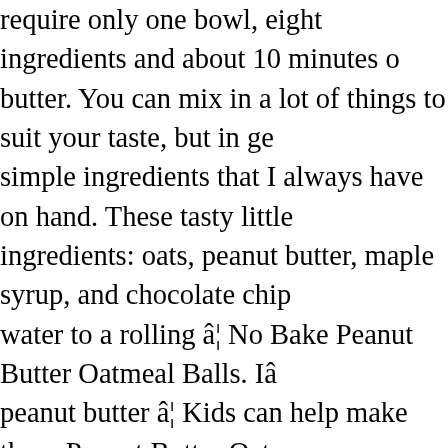require only one bowl, eight ingredients and about 10 minutes o... butter. You can mix in a lot of things to suit your taste, but in ge... simple ingredients that I always have on hand. These tasty little ... ingredients: oats, peanut butter, maple syrup, and chocolate chip... water to a rolling â¦ No Bake Peanut Butter Oatmeal Balls. Iâ... peanut butter â¦ Kids can help make these Peanut Butter Oatme... Whisk together â¦ They are always the first thing gone on any c... perfect, easy, chocolate peanut butter â¦ Peanut Butter â¦ Youâ... snack option! I'm making myself eat by 9 am, and vearing towa... fabulous 4 ingredient peanut butter oatmeal balls. If I can get m... about any kid will love themâ¦ Thereâs just a few simple ingr... nourishment to your child and this snack doesnât require a ton... pour and mix all the ingredients together! How to Make Peanut ... the peanut butter and honey in a heat-proof container (such as a... airtight container at room temperature for up to one â¦ Best Veg... Moist! They are so good and it only takes two to fill me up and ... chocolate drizzle on top. This is one of those recipes. Meal prep... and go energy boost. The recipe for Sugar Free No Bake Oatme... Healthy Almond Butter Chocolate Balls. 3 Ingredient Peanut B...